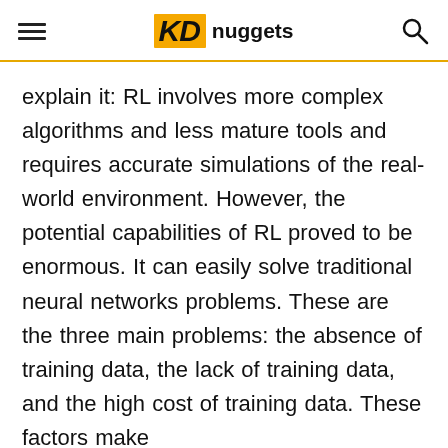KD nuggets
explain it: RL involves more complex algorithms and less mature tools and requires accurate simulations of the real-world environment. However, the potential capabilities of RL proved to be enormous. It can easily solve traditional neural networks problems. These are the three main problems: the absence of training data, the lack of training data, and the high cost of training data. These factors make